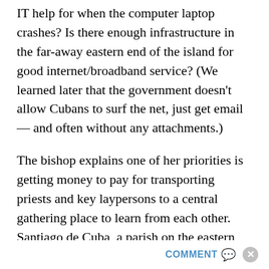IT help for when the computer laptop crashes? Is there enough infrastructure in the far-away eastern end of the island for good internet/broadband service? (We learned later that the government doesn't allow Cubans to surf the net, just get email — and often without any attachments.)
The bishop explains one of her priorities is getting money to pay for transporting priests and key laypersons to a central gathering place to learn from each other. Santiago de Cuba, a parish on the eastern end of the island, is a 14-hour bus ride from the capital city although only a one-hour plane ride, which costs considerably more
COMMENT ✉ ✕